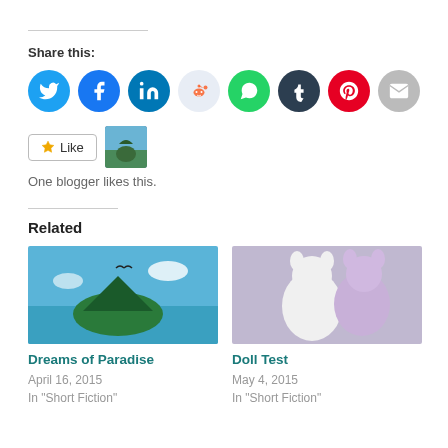Share this:
[Figure (infographic): Row of social media share icon buttons: Twitter (blue), Facebook (dark blue), LinkedIn (blue), Reddit (light blue), WhatsApp (green), Tumblr (dark navy), Pinterest (red), Email (grey)]
[Figure (infographic): Like button with star icon and a small thumbnail avatar photo next to it]
One blogger likes this.
Related
[Figure (photo): Tropical island scene with mountain and bird flying over turquoise ocean water]
Dreams of Paradise
April 16, 2015
In "Short Fiction"
[Figure (photo): White and lavender stuffed animal dolls]
Doll Test
May 4, 2015
In "Short Fiction"